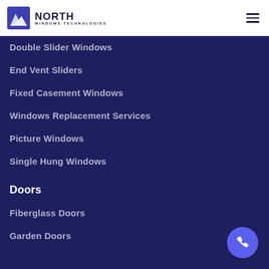[Figure (logo): North Windows Technologies logo with mountain icon and company name]
Double Slider Windows
End Vent Sliders
Fixed Casement Windows
Windows Replacement Services
Picture Windows
Single Hung Windows
Doors
Fiberglass Doors
Garden Doors